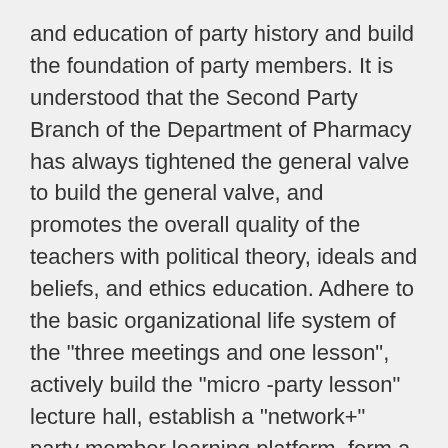and education of party history and build the foundation of party members. It is understood that the Second Party Branch of the Department of Pharmacy has always tightened the general valve to build the general valve, and promotes the overall quality of the teachers with political theory, ideals and beliefs, and ethics education. Adhere to the basic organizational life system of the "three meetings and one lesson", actively build the "micro -party lesson" lecture hall, establish a "network+" party member learning platform, form a learning and education model of "study" in the "study" of party history, change "let me learn" For "I want to learn", improve the initiative and enthusiasm of party members to participate in organizational life. Adhere to the promotion of "two studies, one doing" study and education, and the normal long effect of learning and education, establish a process management mechanism for learning and